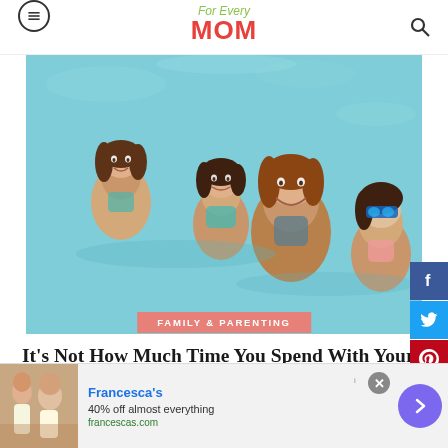For Every MOM
[Figure (photo): A mother and three daughters smiling and playing together in a swimming pool. The mother is wearing a patterned swimsuit and laughing while the children, in teal/coral swimsuits and goggles, cling to her joyfully.]
FAMILY & PARENTING
It's Not How Much Time You Spend With Your Kids, but the Quality of Your Time That Counts
[Figure (infographic): Advertisement banner for Francesca's: '40% off almost everything' at francescas.com, with a photo of women and a purple arrow button.]